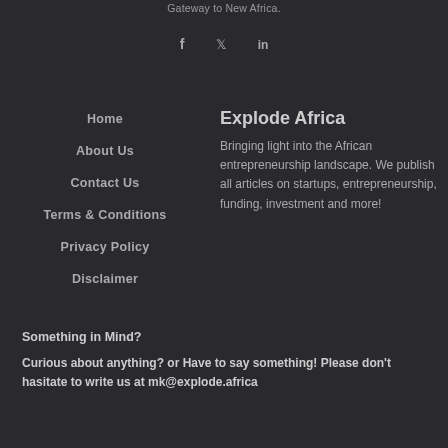Gateway to New Africa.
f  𝕏  in
Home
About Us
Contact Us
Terms & Conditions
Privacy Policy
Disclaimer
Explode Africa
Bringing light into the African entrepreneurship landscape. We publish all articles on startups, entrepreneurship, funding, investment and more!
Something in Mind?
Curious about anything? or Have to say something! Please don't hasitate to write us at mk@explode.africa